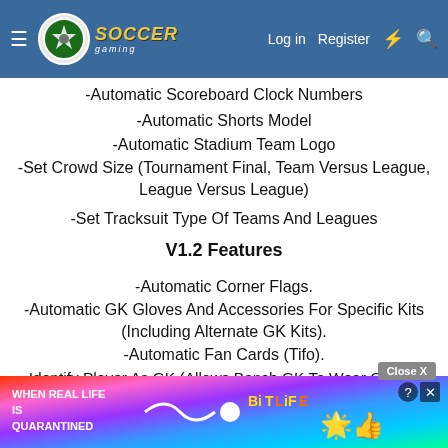Soccer Gaming — Log in | Register
-Automatic Scoreboard Clock Numbers
-Automatic Shorts Model
-Automatic Stadium Team Logo
-Set Crowd Size (Tournament Final, Team Versus League, League Versus League)
-Set Tracksuit Type Of Teams And Leagues
V1.2 Features
-Automatic Corner Flags.
-Automatic GK Gloves And Accessories For Specific Kits (Including Alternate GK Kits).
-Automatic Fan Cards (Tifo).
-Identify Player As GK (Allows Bench GK To Wear GK Kit).
-Identify Which Kits Are Replaced With Custom Kits In FUT (Avoid Clashes When Playing Online).
-Set Crowd Size For Tournaments, Teams And Matches.
[Figure (screenshot): BitLife advertisement banner with rainbow gradient background, star emoji mascot, and 'WHEN REAL LIFE IS QUARANTINED' text]